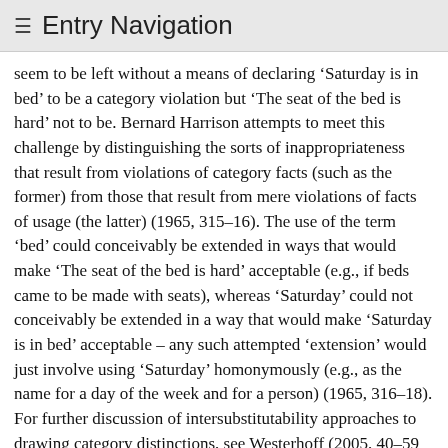≡ Entry Navigation
seem to be left without a means of declaring 'Saturday is in bed' to be a category violation but 'The seat of the bed is hard' not to be. Bernard Harrison attempts to meet this challenge by distinguishing the sorts of inappropriateness that result from violations of category facts (such as the former) from those that result from mere violations of facts of usage (the latter) (1965, 315–16). The use of the term 'bed' could conceivably be extended in ways that would make 'The seat of the bed is hard' acceptable (e.g., if beds came to be made with seats), whereas 'Saturday' could not conceivably be extended in a way that would make 'Saturday is in bed' acceptable – any such attempted 'extension' would just involve using 'Saturday' homonymously (e.g., as the name for a day of the week and for a person) (1965, 316–18). For further discussion of intersubstitutability approaches to drawing category distinctions, see Westerhoff (2005, 40–59 and 2002, 338–339). Westerhoff (2004) develops a method of distinguishing categories based on substitutability in worldly states of affairs rather than language